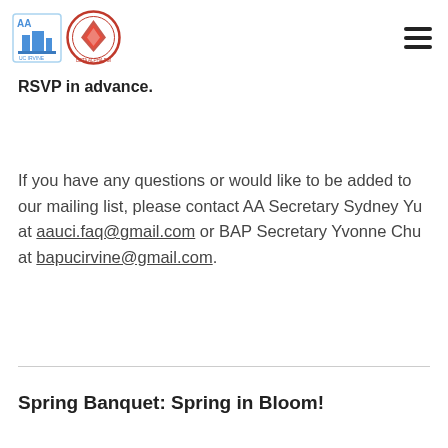[Figure (logo): Two logos side by side: AA (Asian Alliance UCI) logo on left, BAP (Beta Alpha Psi) circular logo on right. Hamburger menu icon on far right.]
RSVP in advance.
If you have any questions or would like to be added to our mailing list, please contact AA Secretary Sydney Yu at aauci.faq@gmail.com or BAP Secretary Yvonne Chu at bapucirvine@gmail.com.
Spring Banquet: Spring in Bloom!